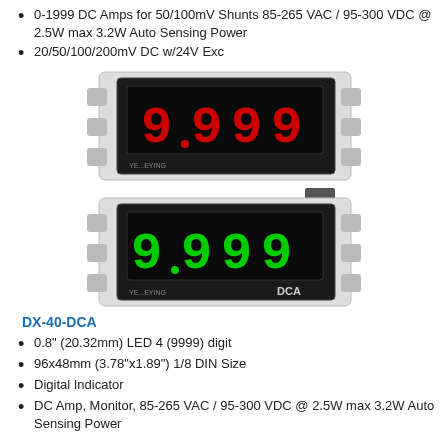0-1999 DC Amps for 50/100mV Shunts 85-265 VAC / 95-300 VDC @ 2.5W max 3.2W Auto Sensing Power
20/50/100/200mV DC w/24V Exc
[Figure (photo): Two digital panel meters (DX-40-DCA): top unit shows red LED display reading 9.999, bottom unit shows green LED display reading 9.999 with DCA label, both in white/black housing]
DX-40-DCA
0.8" (20.32mm) LED 4 (9999) digit
96x48mm (3.78"x1.89") 1/8 DIN Size
Digital Indicator
DC Amp, Monitor, 85-265 VAC / 95-300 VDC @ 2.5W max 3.2W Auto Sensing Power